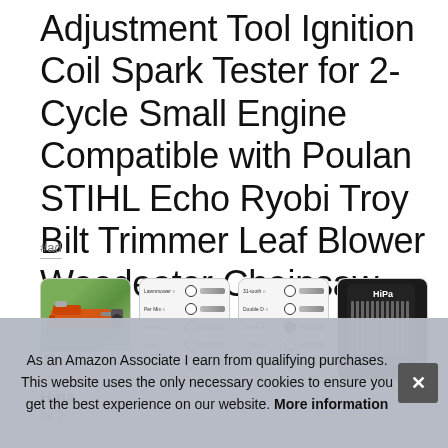Adjustment Tool Ignition Coil Spark Tester for 2-Cycle Small Engine Compatible with Poulan STIHL Echo Ryobi Troy Bilt Trimmer Leaf Blower Weedeater Chainsaw
#ad
[Figure (photo): Four product thumbnail images showing a chainsaw in use, and tool specification diagrams including shape options (hexagon, circle types, star bit) and a product carrying case]
Hipa
for 2
As an Amazon Associate I earn from qualifying purchases. This website uses the only necessary cookies to ensure you get the best experience on our website. More information